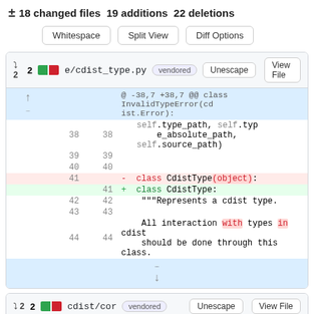± 18 changed files  19 additions  22 deletions
[Figure (screenshot): GitHub diff view with Whitespace, Split View, Diff Options buttons]
e/cdist_type.py  vendored  Unescape  View File
@ -38,7 +38,7 @@ class InvalidTypeError(cdist.Error):
38  38       self.type_path, self.type_absolute_path, self.source_path)
39  39
40  40
41     - class CdistType(object):
   41  + class CdistType:
42  42       """Represents a cdist type.
43  43
44  44       All interaction with types in cdist should be done through this class.
cdist/cor  vendored  Unescape  View File